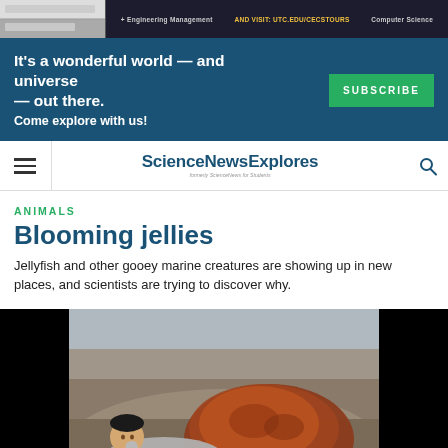[Figure (screenshot): Top advertisement banner showing Engineering Management, UTC.EDU/CECSTOURS, and Computer Science text on dark background]
[Figure (infographic): Blue subscribe banner reading: It's a wonderful world — and universe — out there. Come explore with us! with a green SUBSCRIBE button]
[Figure (screenshot): ScienceNewsExplores navigation bar with hamburger menu, logo, and search icon]
ANIMALS
Blooming jellies
Jellyfish and other gooey marine creatures are showing up in new places, and scientists are trying to discover why.
[Figure (photo): A person lying next to a large beached jellyfish on a rocky shore, showing the massive size of the creature]